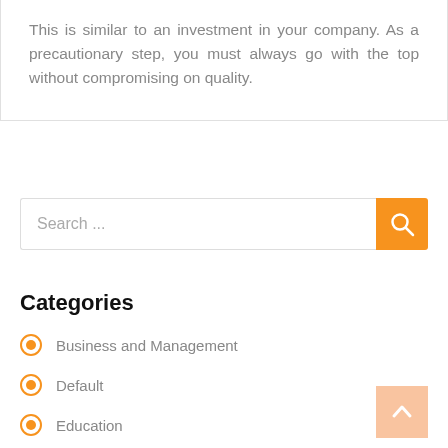This is similar to an investment in your company. As a precautionary step, you must always go with the top without compromising on quality.
[Figure (screenshot): Search input field with orange search button]
Categories
Business and Management
Default
Education
Health and Benefits